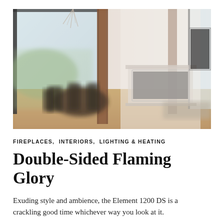[Figure (photo): Blurred interior photo of a modern living/dining space with large floor-to-ceiling windows, wooden columns, a round dining table with dark chairs, and a double-sided fireplace set into a white wall panel, with warm hardwood floors.]
FIREPLACES,  INTERIORS,  LIGHTING & HEATING
Double-Sided Flaming Glory
Exuding style and ambience, the Element 1200 DS is a crackling good time whichever way you look at it.